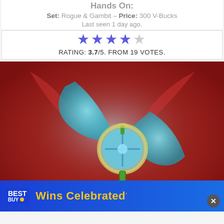Hands On:
Set: Rogue & Gambit – Price: 300 V-Bucks
Last seen 1 day ago.
RATING: 3.7/5. FROM 19 VOTES.
[Figure (illustration): Fortnite game item pickaxe/harvesting tool with cyan/blue translucent blade pieces and metallic-green handle, on a red radial gradient background]
[Figure (logo): Best Buy advertisement banner: Best Buy logo on left, yellow text 'Wins Celebrated' on blue background]